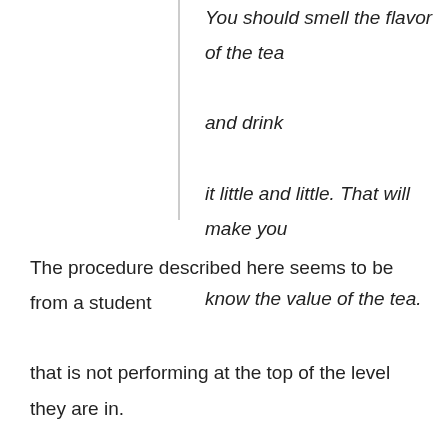You should smell the flavor of the tea and drink it little and little. That will make you know the value of the tea.
The procedure described here seems to be from a student that is not performing at the top of the level they are in. (What would be even better is that these texts had grades given by the teachers).  Even though the class is level 4, there is not much evidence of it, either because of the